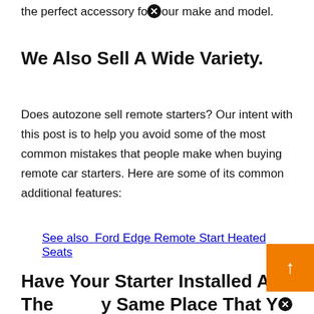the perfect accessory for your make and model.
We Also Sell A Wide Variety.
Does autozone sell remote starters? Our intent with this post is to help you avoid some of the most common mistakes that people make when buying remote car starters. Here are some of its common additional features:
See also  Ford Edge Remote Start Heated Seats
Have Your Starter Installed At The Same Place That You Buy It.